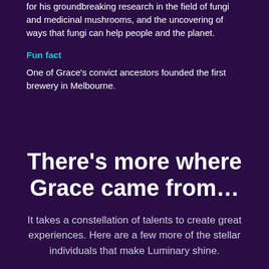for his groundbreaking research in the field of fungi and medicinal mushrooms, and the uncovering of ways that fungi can help people and the planet.
Fun fact
One of Grace's convict ancestors founded the first brewery in Melbourne.
There's more where Grace came from…
It takes a constellation of talents to create great experiences. Here are a few more of the stellar individuals that make Luminary shine.